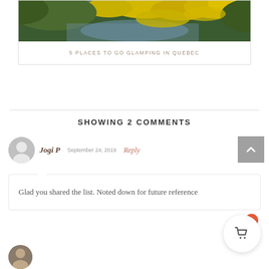[Figure (photo): Partial top photo of autumn foliage with yellow leaves and green plants near water, inside a white card border]
5 PLACES TO GO GLAMPING IN QUEBEC
SHOWING 2 COMMENTS
Jogi P  September 24, 2019  Reply
Glad you shared the list. Noted down for future reference